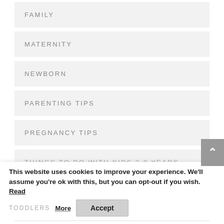FAMILY
MATERNITY
NEWBORN
PARENTING TIPS
PREGNANCY TIPS
THINGS TO DO WITH KIDS 2-8 YEARS
This website uses cookies to improve your experience. We'll assume you're ok with this, but you can opt-out if you wish. Read More
TODDLERS